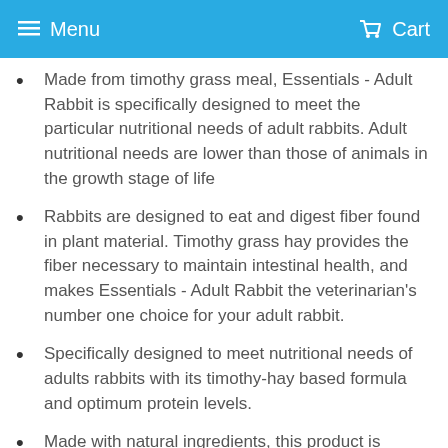Menu   Cart
Made from timothy grass meal, Essentials - Adult Rabbit is specifically designed to meet the particular nutritional needs of adult rabbits. Adult nutritional needs are lower than those of animals in the growth stage of life
Rabbits are designed to eat and digest fiber found in plant material. Timothy grass hay provides the fiber necessary to maintain intestinal health, and makes Essentials - Adult Rabbit the veterinarian's number one choice for your adult rabbit.
Specifically designed to meet nutritional needs of adults rabbits with its timothy-hay based formula and optimum protein levels.
Made with natural ingredients, this product is